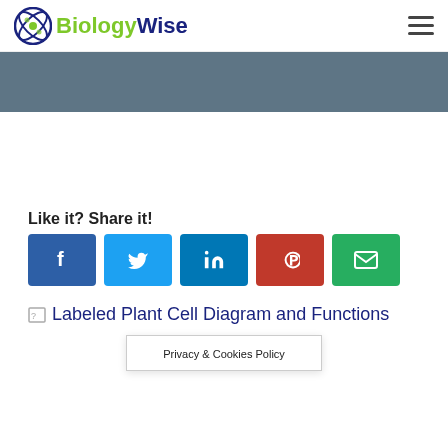BiologyWise
[Figure (other): Gray banner/hero image area at top of page]
Like it? Share it!
[Figure (infographic): Social share buttons: Facebook, Twitter, LinkedIn, Pinterest, Email]
[Figure (other): Labeled Plant Cell Diagram and Functions - broken image placeholder]
Privacy & Cookies Policy